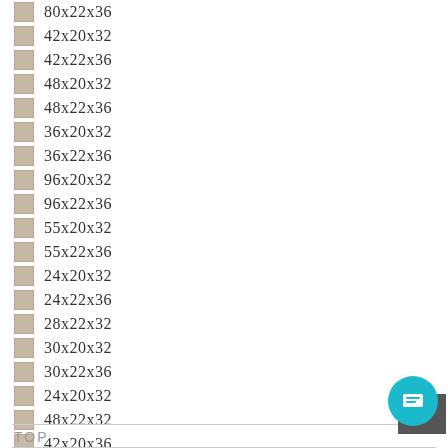80x22x36
42x20x32
42x22x36
48x20x32
48x22x36
36x20x32
36x22x36
96x20x32
96x22x36
55x20x32
55x22x36
24x20x32
24x22x36
28x22x32
30x20x32
30x22x36
24x20x32
48x22x32
42x20x36
TOP